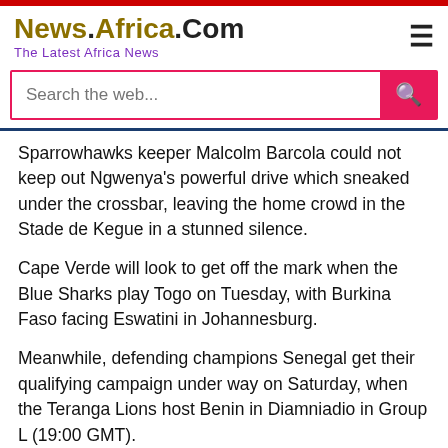News.Africa.Com — The Latest Africa News
Sparrowhawks keeper Malcolm Barcola could not keep out Ngwenya's powerful drive which sneaked under the crossbar, leaving the home crowd in the Stade de Kegue in a stunned silence.
Cape Verde will look to get off the mark when the Blue Sharks play Togo on Tuesday, with Burkina Faso facing Eswatini in Johannesburg.
Meanwhile, defending champions Senegal get their qualifying campaign under way on Saturday, when the Teranga Lions host Benin in Diamniadio in Group L (19:00 GMT).
Upcoming Group B and H fixtures: